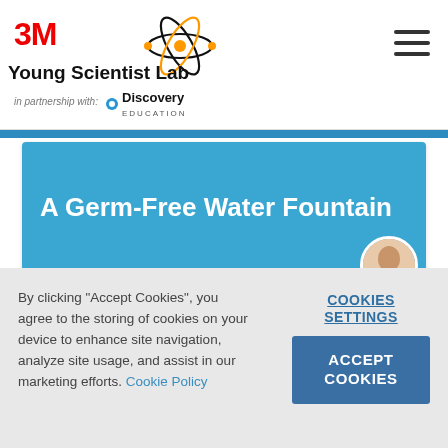3M Young Scientist Lab in partnership with Discovery Education
A Germ-Free Water Fountain
By clicking "Accept Cookies", you agree to the storing of cookies on your device to enhance site navigation, analyze site usage, and assist in our marketing efforts. Cookie Policy
COOKIES SETTINGS
ACCEPT COOKIES